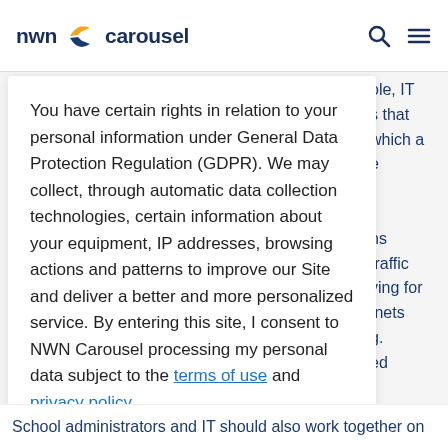[Figure (logo): NWN Carousel logo with orange and dark blue arrow swoosh icon between 'nwn' and 'carousel' text]
You have certain rights in relation to your personal information under General Data Protection Regulation (GDPR). We may collect, through automatic data collection technologies, certain information about your equipment, IP addresses, browsing actions and patterns to improve our Site and deliver a better and more personalized service. By entering this site, I consent to NWN Carousel processing my personal data subject to the terms of use and privacy policy.
DO NOT ALLOW
ALLOW
School administrators and IT should also work together on